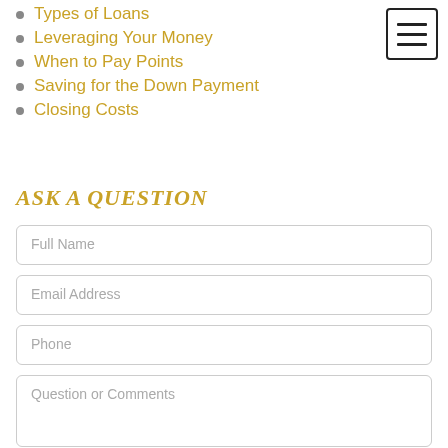Types of Loans
Leveraging Your Money
When to Pay Points
Saving for the Down Payment
Closing Costs
ASK A QUESTION
Full Name
Email Address
Phone
Question or Comments